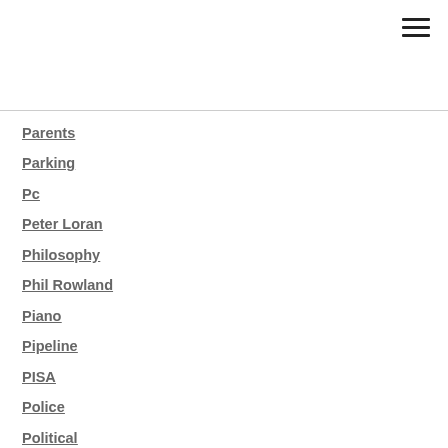Parents
Parking
Pc
Peter Loran
Philosophy
Phil Rowland
Piano
Pipeline
PISA
Police
Political
Politics
Polly Knowlton Cockett
Portables
Practice Review
Premier